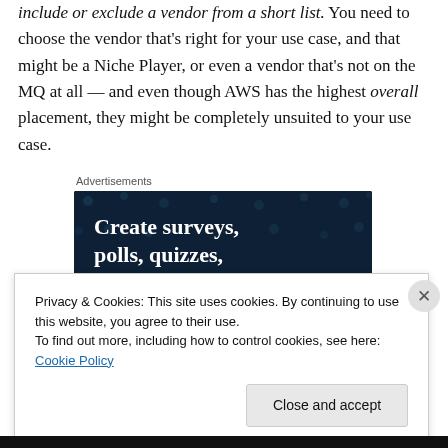include or exclude a vendor from a short list. You need to choose the vendor that's right for your use case, and that might be a Niche Player, or even a vendor that's not on the MQ at all — and even though AWS has the highest overall placement, they might be completely unsuited to your use case.
Advertisements
[Figure (other): Dark navy advertisement banner with white bold text reading 'Create surveys, polls, quizzes, and forms.' with decorative dots pattern in background.]
Privacy & Cookies: This site uses cookies. By continuing to use this website, you agree to their use.
To find out more, including how to control cookies, see here: Cookie Policy